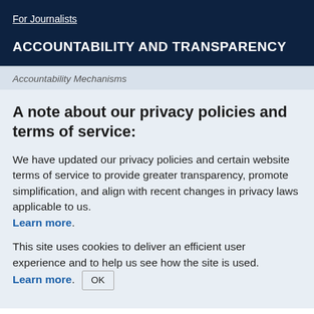For Journalists
ACCOUNTABILITY AND TRANSPARENCY
Accountability Mechanisms
A note about our privacy policies and terms of service:
We have updated our privacy policies and certain website terms of service to provide greater transparency, promote simplification, and align with recent changes in privacy laws applicable to us. Learn more.
This site uses cookies to deliver an efficient user experience and to help us see how the site is used. Learn more. OK